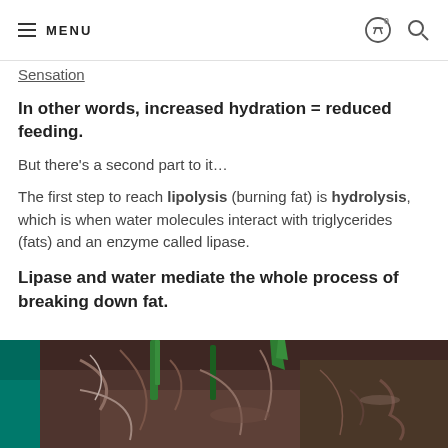MENU
Sensation
In other words, increased hydration = reduced feeding.
But there's a second part to it…
The first step to reach lipolysis (burning fat) is hydrolysis, which is when water molecules interact with triglycerides (fats) and an enzyme called lipase.
Lipase and water mediate the whole process of breaking down fat.
[Figure (photo): Close-up photo of plant roots, soil, and green stems/stalks in dark brown earth]